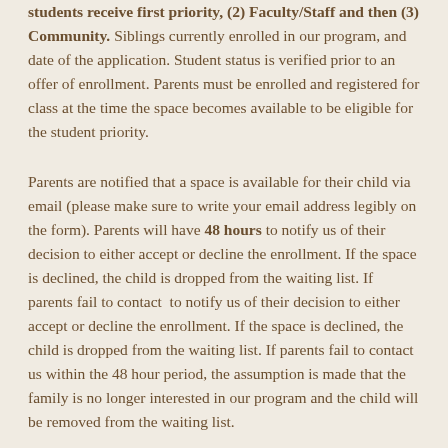students receive first priority, (2) Faculty/Staff and then (3) Community. Siblings currently enrolled in our program, and date of the application. Student status is verified prior to an offer of enrollment. Parents must be enrolled and registered for class at the time the space becomes available to be eligible for the student priority.
Parents are notified that a space is available for their child via email (please make sure to write your email address legibly on the form). Parents will have 48 hours to notify us of their decision to either accept or decline the enrollment. If the space is declined, the child is dropped from the waiting list. If parents fail to contact  to notify us of their decision to either accept or decline the enrollment. If the space is declined, the child is dropped from the waiting list. If parents fail to contact us within the 48 hour period, the assumption is made that the family is no longer interested in our program and the child will be removed from the waiting list.
Enrollment